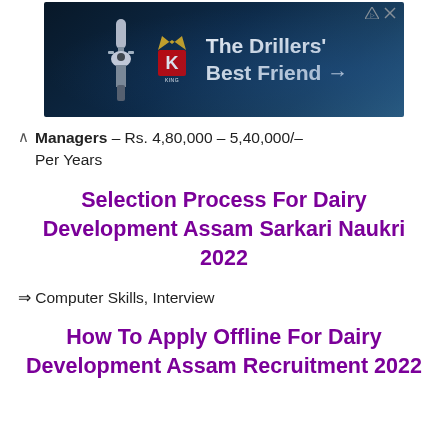[Figure (advertisement): King Oil Tools advertisement banner with dark blue background showing drill equipment and text 'The Drillers' Best Friend →']
○ Managers — Rs. 4,80,000 – 5,40,000/– Per Years
Selection Process For Dairy Development Assam Sarkari Naukri 2022
⇒ Computer Skills, Interview
How To Apply Offline For Dairy Development Assam Recruitment 2022